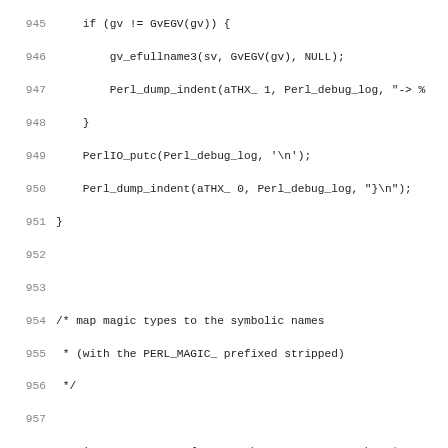Source code listing, lines 945-977, showing C code with magic types map and PERL_MAGIC constants struct initialization